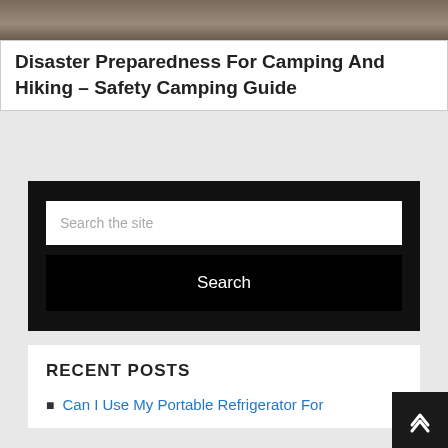[Figure (photo): Partial photo of a person outdoors, cropped at top]
Disaster Preparedness For Camping And Hiking – Safety Camping Guide
Search the site
Search
RECENT POSTS
Can I Use My Portable Refrigerator For